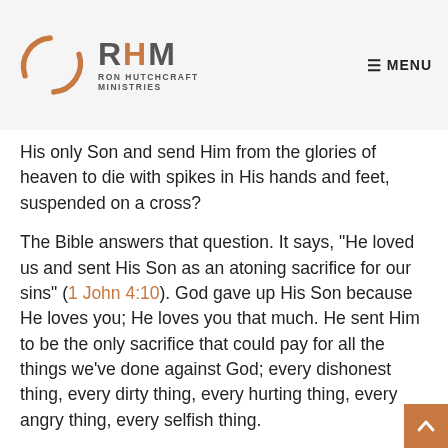RHM RON HUTCHCRAFT MINISTRIES  ☰ MENU
His only Son and send Him from the glories of heaven to die with spikes in His hands and feet, suspended on a cross?
The Bible answers that question. It says, "He loved us and sent His Son as an atoning sacrifice for our sins" (1 John 4:10). God gave up His Son because He loves you; He loves you that much. He sent Him to be the only sacrifice that could pay for all the things we've done against God; every dishonest thing, every dirty thing, every hurting thing, every angry thing, every selfish thing.